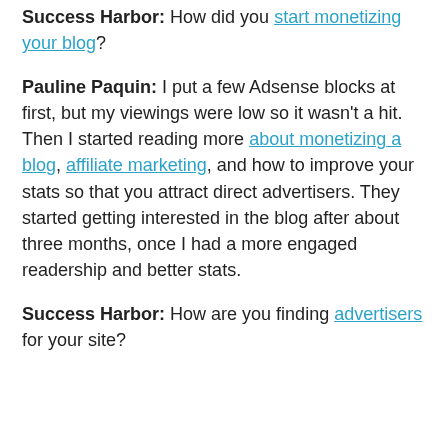Success Harbor: How did you start monetizing your blog?
Pauline Paquin: I put a few Adsense blocks at first, but my viewings were low so it wasn't a hit. Then I started reading more about monetizing a blog, affiliate marketing, and how to improve your stats so that you attract direct advertisers. They started getting interested in the blog after about three months, once I had a more engaged readership and better stats.
Success Harbor: How are you finding advertisers for your site?